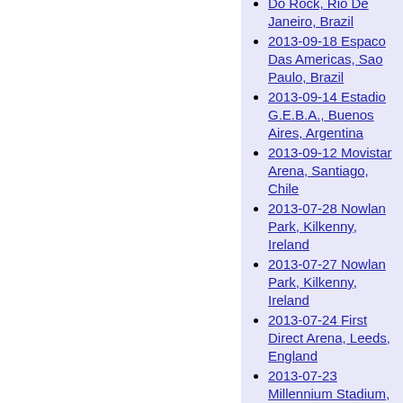Do Rock, Rio De Janeiro, Brazil
2013-09-18 Espaco Das Americas, Sao Paulo, Brazil
2013-09-14 Estadio G.E.B.A., Buenos Aires, Argentina
2013-09-12 Movistar Arena, Santiago, Chile
2013-07-28 Nowlan Park, Kilkenny, Ireland
2013-07-27 Nowlan Park, Kilkenny, Ireland
2013-07-24 First Direct Arena, Leeds, England
2013-07-23 Millennium Stadium, Cardiff, Wales
2013-07-20 King's Hall, Belfast, Northern Ireland
2013-07-18 Páirc Uí Chaoimh, Cork, Ireland
2013-07-16 ...